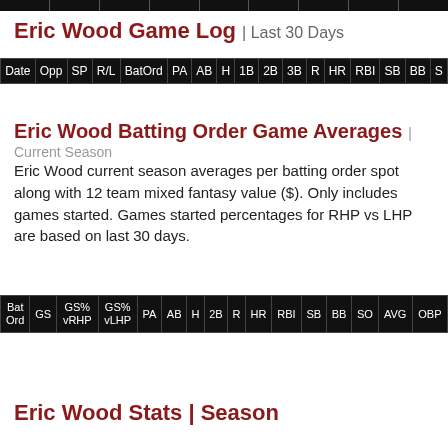[Figure (other): Dark header bar with column dividers]
Eric Wood Game Log | Last 30 Days
| Date | Opp | SP | R/L | BatOrd | PA | AB | H | 1B | 2B | 3B | R | HR | RBI | SB | BB | S |
| --- | --- | --- | --- | --- | --- | --- | --- | --- | --- | --- | --- | --- | --- | --- | --- | --- |
Eric Wood Batting Order Game Averages | Current Season
Eric Wood current season averages per batting order spot along with 12 team mixed fantasy value ($). Only includes games started. Games started percentages for RHP vs LHP are based on last 30 days.
| Bat Ord | GS | GS% vRHP | GS% vLHP | PA | AB | H | 2B | R | HR | RBI | SB | BB | SO | AVG | OBP |
| --- | --- | --- | --- | --- | --- | --- | --- | --- | --- | --- | --- | --- | --- | --- | --- |
Eric Wood Stats | Season